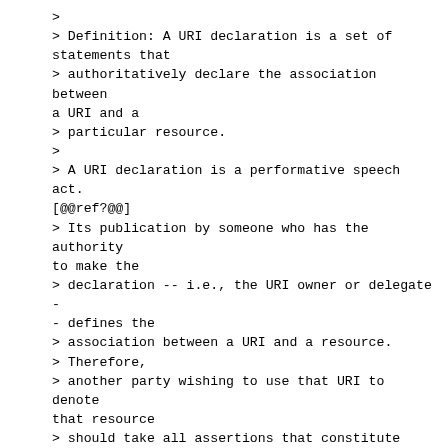>
> Definition: A URI declaration is a set of statements that
> authoritatively declare the association between a URI and a
> particular resource.
>
> A URI declaration is a performative speech act. [@@ref?@@]
> Its publication by someone who has the authority to make the
> declaration -- i.e., the URI owner or delegate -- defines the
> association between a URI and a resource.
> Therefore,
> another party wishing to use that URI to denote that resource
> should take all assertions that constitute part of that URI
> declaration as true by definition.
> This is a take-it-or-leave-it proposition: If you do not want
> to believe the assertions in the URI declaration, then you
> should not use that URI, because, in essence, you are trying
> to talk about a different resource -- one that shares some,
> but not all, of the same characteristics